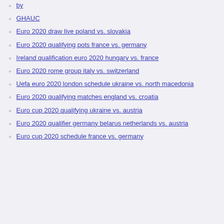by
GHAUC
Euro 2020 draw live poland vs. slovakia
Euro 2020 qualifying pots france vs. germany
Ireland qualification euro 2020 hungary vs. france
Euro 2020 rome group italy vs. switzerland
Uefa euro 2020 london schedule ukraine vs. north macedonia
Euro 2020 qualifying matches england vs. croatia
Euro cup 2020 qualifying ukraine vs. austria
Euro 2020 qualifier germany belarus netherlands vs. austria
Euro cup 2020 schedule france vs. germany